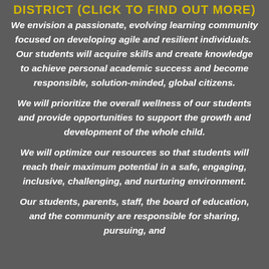DISTRICT (CLICK TO FIND OUT MORE)
We envision a passionate, evolving learning community focused on developing agile and resilient individuals.  Our students will acquire skills and create knowledge to achieve personal academic success and become responsible, solution-minded, global citizens.
We will prioritize the overall wellness of our students and provide opportunities to support the growth and development of the whole child.
We will optimize our resources so that students will reach their maximum potential in a safe, engaging, inclusive, challenging, and nurturing environment.
Our students, parents, staff, the board of education, and the community are responsible for sharing, pursuing, and